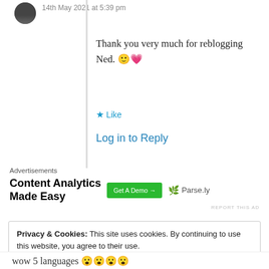14th May 2021 at 5:39 pm
Thank you very much for reblogging Ned. 🙂💗
★ Like
Log in to Reply
Advertisements
[Figure (other): Advertisement: Content Analytics Made Easy - Get A Demo → Parse.ly]
REPORT THIS AD
Privacy & Cookies: This site uses cookies. By continuing to use this website, you agree to their use.
To find out more, including how to control cookies, see here: Cookie Policy
Close and accept
wow 5 languages 😮😮😮😮